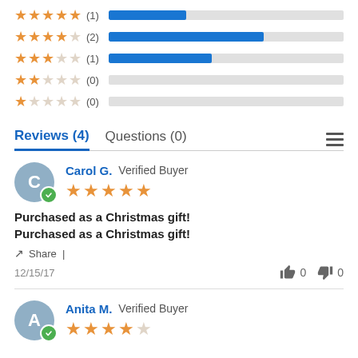[Figure (bar-chart): Star rating distribution]
Reviews (4)   Questions (0)
Carol G.  Verified Buyer
Purchased as a Christmas gift! Purchased as a Christmas gift!
Share |
12/15/17   0   0
Anita M.  Verified Buyer